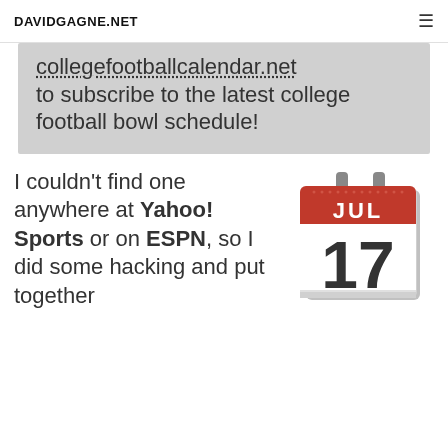DAVIDGAGNE.NET
collegefootballcalendar.net to subscribe to the latest college football bowl schedule!
I couldn't find one anywhere at Yahoo! Sports or on ESPN, so I did some hacking and put together
[Figure (illustration): A calendar icon showing JUL 17]